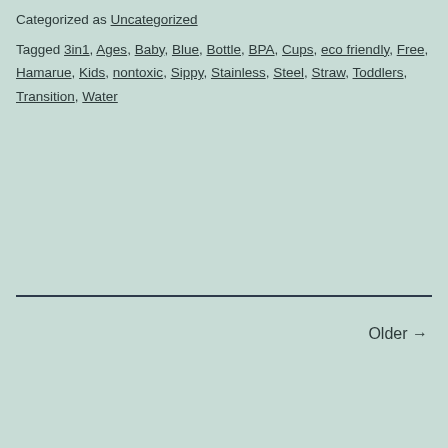Categorized as Uncategorized
Tagged 3in1, Ages, Baby, Blue, Bottle, BPA, Cups, eco friendly, Free, Hamarue, Kids, nontoxic, Sippy, Stainless, Steel, Straw, Toddlers, Transition, Water
Older →